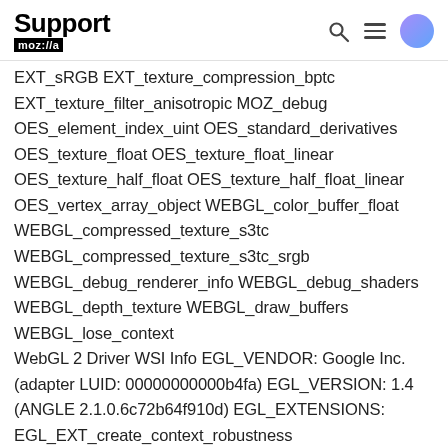Support moz://a
EXT_sRGB EXT_texture_compression_bptc EXT_texture_filter_anisotropic MOZ_debug OES_element_index_uint OES_standard_derivatives OES_texture_float OES_texture_float_linear OES_texture_half_float OES_texture_half_float_linear OES_vertex_array_object WEBGL_color_buffer_float WEBGL_compressed_texture_s3tc WEBGL_compressed_texture_s3tc_srgb WEBGL_debug_renderer_info WEBGL_debug_shaders WEBGL_depth_texture WEBGL_draw_buffers WEBGL_lose_context WebGL 2 Driver WSI Info EGL_VENDOR: Google Inc. (adapter LUID: 00000000000b4fa) EGL_VERSION: 1.4 (ANGLE 2.1.0.6c72b64f910d) EGL_EXTENSIONS: EGL_EXT_create_context_robustness EGL_ANGLE_d3d_share_handle_client_buffer